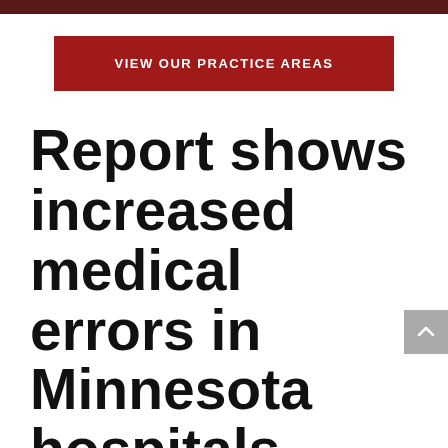[Figure (other): Red button/banner: VIEW OUR PRACTICE AREAS]
Report shows increased medical errors in Minnesota hospitals
On Behalf of Bremseth Law Firm PC | Feb 25, 2016 |
Firm News, Medical Malpractice |